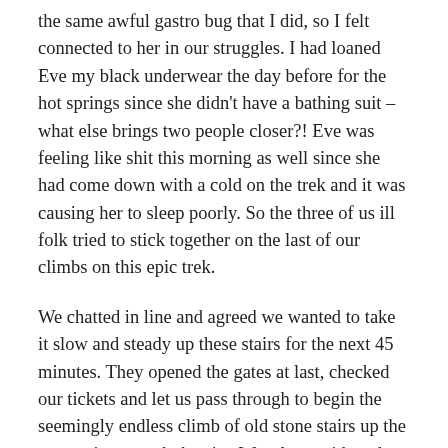the same awful gastro bug that I did, so I felt connected to her in our struggles. I had loaned Eve my black underwear the day before for the hot springs since she didn't have a bathing suit –  what else brings two people closer?! Eve was feeling like shit this morning as well since she had come down with a cold on the trek and it was causing her to sleep poorly. So the three of us ill folk tried to stick together on the last of our climbs on this epic trek.
We chatted in line and agreed we wanted to take it slow and steady up these stairs for the next 45 minutes. They opened the gates at last, checked our tickets and let us pass through to begin the seemingly endless climb of old stone stairs up the mountain to reach the city. We, along with and endless stream of hundreds of others climbed up, up, up. It was difficult, especially on no sleep, but I